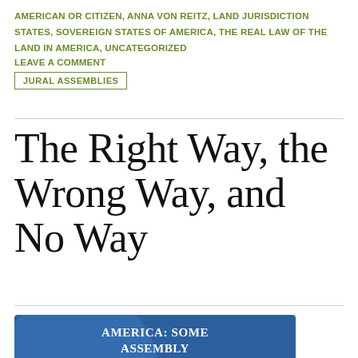AMERICAN OR CITIZEN, ANNA VON REITZ, LAND JURISDICTION STATES, SOVEREIGN STATES OF AMERICA, THE REAL LAW OF THE LAND IN AMERICA, UNCATEGORIZED
LEAVE A COMMENT
JURAL ASSEMBLIES
The Right Way, the Wrong Way, and No Way
[Figure (illustration): Book cover image with blue background showing text 'AMERICA: SOME ASSEMBLY REQUIRED']